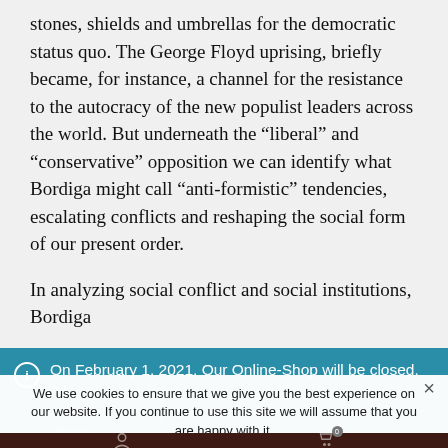stones, shields and umbrellas for the democratic status quo. The George Floyd uprising, briefly became, for instance, a channel for the resistance to the autocracy of the new populist leaders across the world. But underneath the “liberal” and “conservative” opposition we can identify what Bordiga might call “anti-formistic” tendencies, escalating conflicts and reshaping the social form of our present order.
In analyzing social conflict and social institutions, Bordiga
[Figure (screenshot): Blue notification bar with info icon stating: On February 1, 2021, Our Online-Shop will be closed. All orders until January 31 will be delivered. Dismiss link visible. Below it a semi-transparent dark background overlaid by a cookie consent popup saying: We use cookies to ensure that we give you the best experience on our website. If you continue to use this site we will assume that you are happy with it. With an Ok button and a close X button. Below is a dark red bottom navigation bar with user icon, cart icon with badge showing 0.]